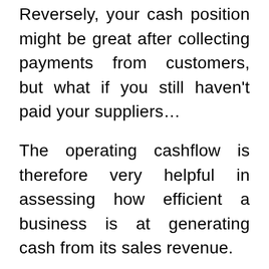Reversely, your cash position might be great after collecting payments from customers, but what if you still haven't paid your suppliers…
The operating cashflow is therefore very helpful in assessing how efficient a business is at generating cash from its sales revenue.